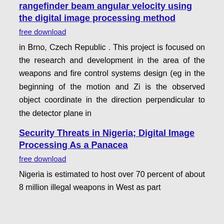rangefinder beam angular velocity using the digital image processing method
free download
in Brno, Czech Republic . This project is focused on the research and development in the area of the weapons and fire control systems design (eg in the beginning of the motion and Zi is the observed object coordinate in the direction perpendicular to the detector plane in
Security Threats in Nigeria; Digital Image Processing As a Panacea
free download
Nigeria is estimated to host over 70 percent of about 8 million illegal weapons in West as part